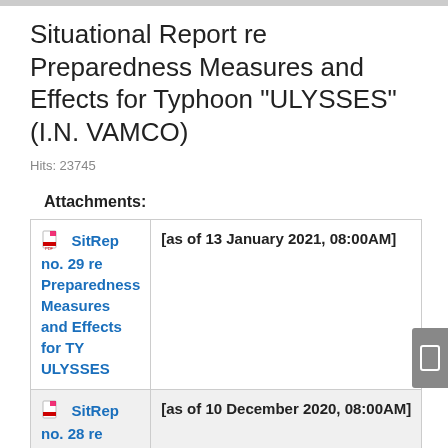Situational Report re Preparedness Measures and Effects for Typhoon "ULYSSES" (I.N. VAMCO)
Hits: 23745
Attachments:
| Attachment | Date |
| --- | --- |
| SitRep no. 29 re Preparedness Measures and Effects for TY ULYSSES | [as of 13 January 2021, 08:00AM] |
| SitRep no. 28 re Preparedness Measures and Effects for TY ULYSSES | [as of 10 December 2020, 08:00AM] |
| SitRep no. 27 re Preparedness Measures and Effects for TY ULYSSES | [as of 07 December 2020, 08:00AM] |
| SitRep no. 26 re Preparedness Measures and Effects for TY ULYSSES | [as of 06 December 2020, …] |